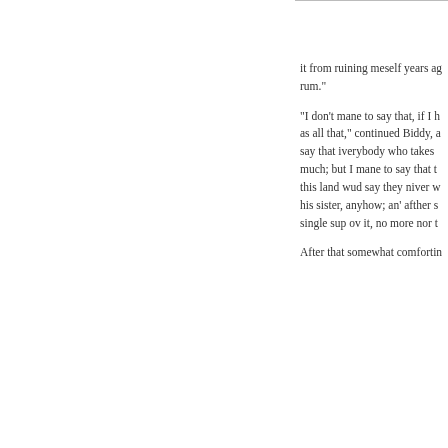it from ruining meself years ago with rum."

"I don't mane to say that, if I h as all that," continued Biddy, a say that iverybody who takes much; but I mane to say that this land wud say they niver w his sister, anyhow; an' afther s single sup ov it, no more nor t

After that somewhat comfortin
[Figure (other): A navigation button with a left-pointing chevron/arrow on a dark red background]